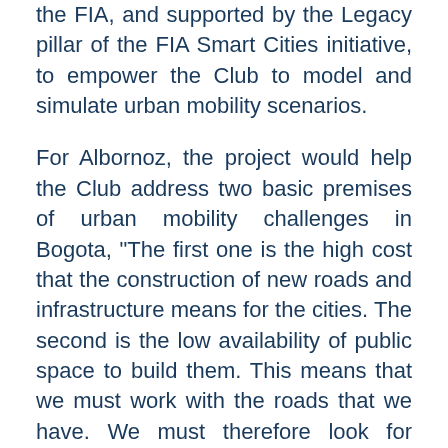the FIA, and supported by the Legacy pillar of the FIA Smart Cities initiative, to empower the Club to model and simulate urban mobility scenarios.
For Albornoz, the project would help the Club address two basic premises of urban mobility challenges in Bogota, "The first one is the high cost that the construction of new roads and infrastructure means for the cities. The second is the low availability of public space to build them. This means that we must work with the roads that we have. We must therefore look for improved efficiency with what we have. Big data can provide us with the opportunity to learn much more about the roads and mobility, and give us the opportunity to transmit this information to the users." He explained that the objective of the pilot project is to leverage big data in order to encourage better public transport efficiency, and safer routes for bikes, and